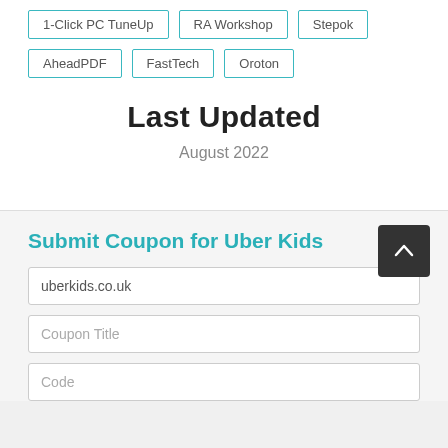1-Click PC TuneUp
RA Workshop
Stepok
AheadPDF
FastTech
Oroton
Last Updated
August 2022
Submit Coupon for Uber Kids
uberkids.co.uk
Coupon Title
Code